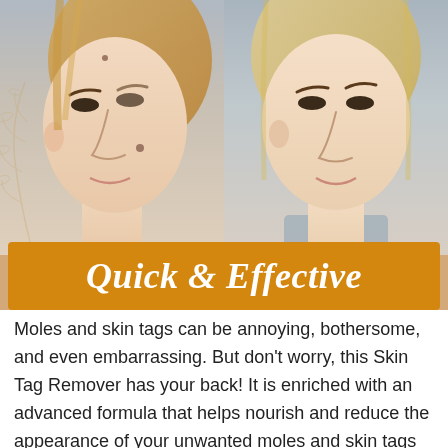[Figure (photo): Before and after comparison photos of a woman's face showing skin with moles/skin tags (left/before) and clear skin (right/after), set against a tan/beige decorative background with a botanical illustration. An orange banner overlaid at the bottom reads 'Quick & Effective'.]
Moles and skin tags can be annoying, bothersome, and even embarrassing. But don't worry, this Skin Tag Remover has your back! It is enriched with an advanced formula that helps nourish and reduce the appearance of your unwanted moles and skin tags easily.